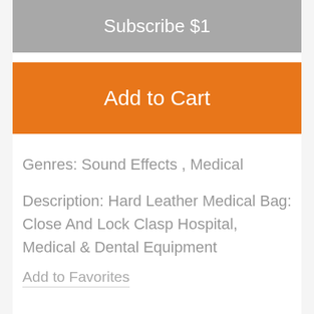Subscribe $1
Add to Cart
Genres: Sound Effects , Medical
Description: Hard Leather Medical Bag: Close And Lock Clasp Hospital, Medical & Dental Equipment
Add to Favorites